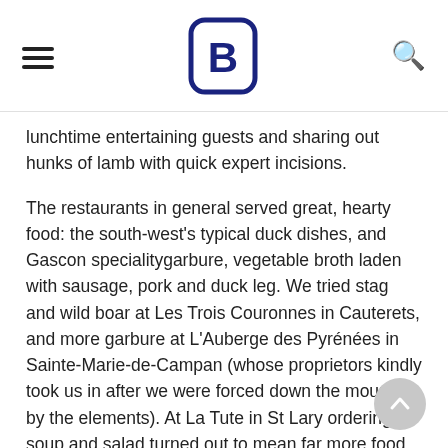[hamburger menu] [B logo] [search icon]
lunchtime entertaining guests and sharing out hunks of lamb with quick expert incisions.
The restaurants in general served great, hearty food: the south-west's typical duck dishes, and Gascon specialitygarbure, vegetable broth laden with sausage, pork and duck leg. We tried stag and wild boar at Les Trois Couronnes in Cauterets, and more garbure at L'Auberge des Pyrénées in Sainte-Marie-de-Campan (whose proprietors kindly took us in after we were forced down the mountain by the elements). At La Tute in St Lary ordering soup and salad turned out to mean far more food than even a hungry skier could put away.
And as you'd expect, there were big Madiran red wines everywhere to wash meals down with, and all at very decent